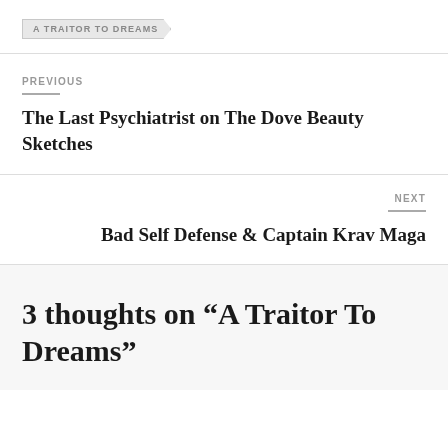A TRAITOR TO DREAMS
PREVIOUS
The Last Psychiatrist on The Dove Beauty Sketches
NEXT
Bad Self Defense & Captain Krav Maga
3 thoughts on “A Traitor To Dreams”